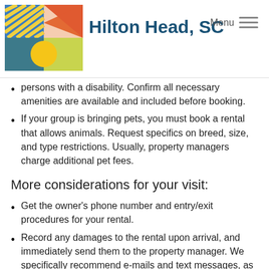Hilton Head, SC
persons with a disability. Confirm all necessary amenities are available and included before booking.
If your group is bringing pets, you must book a rental that allows animals. Request specifics on breed, size, and type restrictions. Usually, property managers charge additional pet fees.
More considerations for your visit:
Get the owner's phone number and entry/exit procedures for your rental.
Record any damages to the rental upon arrival, and immediately send them to the property manager. We specifically recommend e-mails and text messages, as they usually contain time stamps that are very helpful if damages are attributed to your stay.
Property managers are great sources of help! Feel free to ask any questions during your stay.